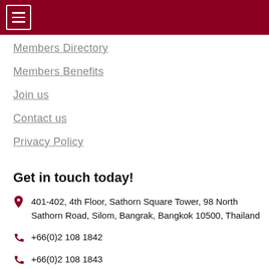≡
Members Directory
Members Benefits
Join us
Contact us
Privacy Policy
Get in touch today!
401-402, 4th Floor, Sathorn Square Tower, 98 North Sathorn Road, Silom, Bangrak, Bangkok 10500, Thailand
+66(0)2 108 1842
+66(0)2 108 1843
admin@mtcc.or.th